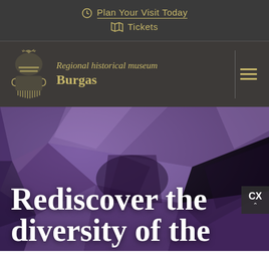Plan Your Visit Today
Tickets
[Figure (logo): Regional historical museum Burgas logo with golden helmet/scroll emblem and yellow text on dark background]
Rediscover the diversity of the
[Figure (photo): Close-up of purple/violet crystal mineral rock formation (amethyst) used as hero background image]